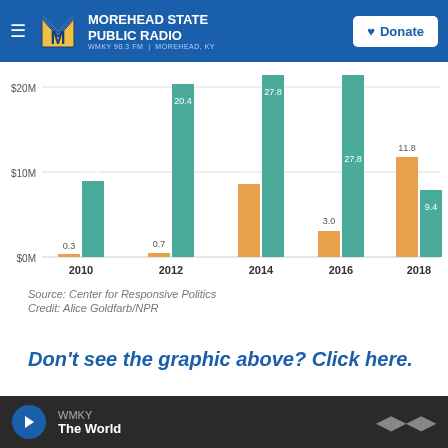Morehead State Public Radio — WMKY 90.3 FM | Morehead, KY — Donate
[Figure (grouped-bar-chart): ]
Source: Center for Responsive Politics
Credit: Alice Goldfarb/NPR
Don't see the graphic above? Click here.
After recent mass shootings, GOP congressional
WMKY — The World